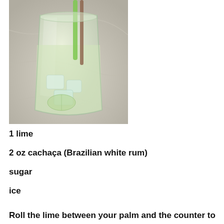[Figure (photo): A glass of caipirinha cocktail with ice, lime, and straws on a marble surface]
1 lime
2 oz cachaça (Brazilian white rum)
sugar
ice
Roll the lime between your palm and the counter to